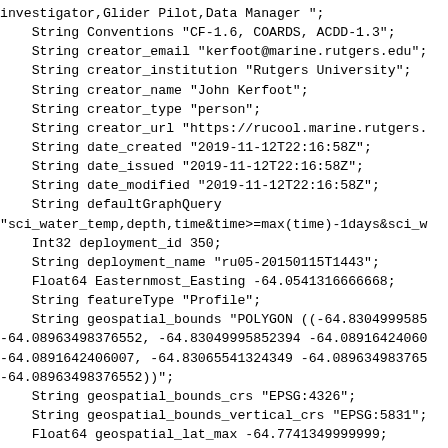investigator,Glider Pilot,Data Manager ";
    String Conventions "CF-1.6, COARDS, ACDD-1.3";
    String creator_email "kerfoot@marine.rutgers.edu";
    String creator_institution "Rutgers University";
    String creator_name "John Kerfoot";
    String creator_type "person";
    String creator_url "https://rucool.marine.rutgers.
    String date_created "2019-11-12T22:16:58Z";
    String date_issued "2019-11-12T22:16:58Z";
    String date_modified "2019-11-12T22:16:58Z";
    String defaultGraphQuery
"sci_water_temp,depth,time&time>=max(time)-1days&sci_w
    Int32 deployment_id 350;
    String deployment_name "ru05-20150115T1443";
    Float64 Easternmost_Easting -64.0541316666668;
    String featureType "Profile";
    String geospatial_bounds "POLYGON ((-64.8304999585
-64.08963498376552, -64.83049995852394 -64.08916424060
-64.0891642406007, -64.83065541324349 -64.089634983765
-64.08963498376552))";
    String geospatial_bounds_crs "EPSG:4326";
    String geospatial_bounds_vertical_crs "EPSG:5831";
    Float64 geospatial_lat_max -64.7741349999999;
    Float64 geospatial_lat_min -64.8967634505853;
    String geospatial_lat_resolution "0.00001 degree";
    String geospatial_lat_units "degrees_north";